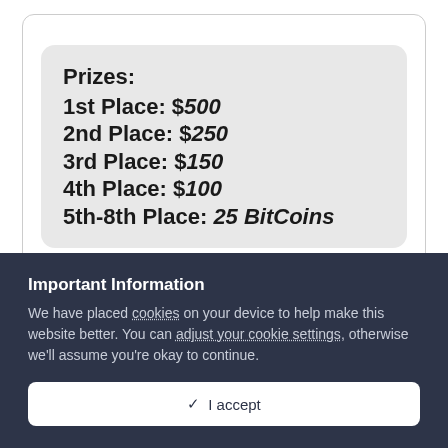Prizes:
1st Place: $500
2nd Place: $250
3rd Place: $150
4th Place: $100
5th-8th Place: 25 BitCoins
3:16 PM · Mar 27, 2022 · TweetDeck
Important Information
We have placed cookies on your device to help make this website better. You can adjust your cookie settings, otherwise we'll assume you're okay to continue.
✓  I accept